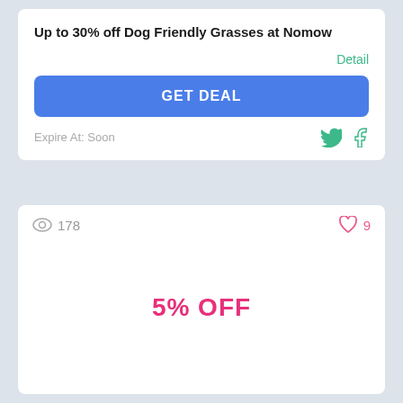Up to 30% off Dog Friendly Grasses at Nomow
Detail
GET DEAL
Expire At: Soon
178
9
5% OFF